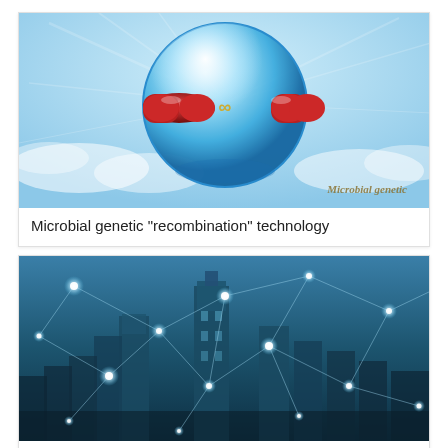[Figure (illustration): A glowing blue spherical orb with two red capsule/pill shapes connected by a gold infinity symbol in the center, set against a light blue sky with clouds. Watermark text 'Microbial genetic' in stylized font at bottom right.]
Microbial genetic "recombination" technology
[Figure (photo): A city skyline at night/dusk with tall skyscrapers in blue tones, overlaid with a network of glowing white dots and connecting lines suggesting 5G or wireless connectivity network.]
5G NR Standards Development Accelerates, Will Have Significant Impact On Operator Plans